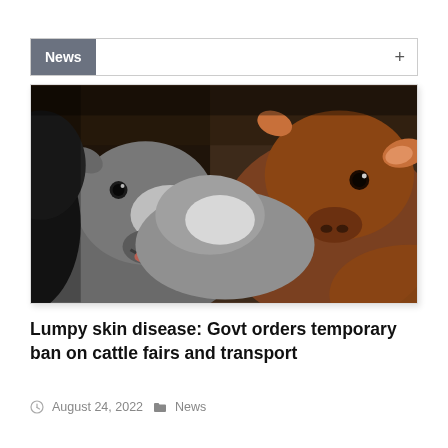News
[Figure (photo): Close-up photograph of several cattle/cows crowded together, showing their faces. A brown calf is prominently visible on the right side, and a grey cow is on the left. The background is dark and muted.]
Lumpy skin disease: Govt orders temporary ban on cattle fairs and transport
August 24, 2022  News